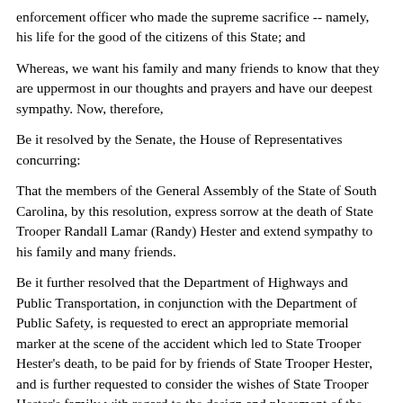enforcement officer who made the supreme sacrifice -- namely, his life for the good of the citizens of this State; and
Whereas, we want his family and many friends to know that they are uppermost in our thoughts and prayers and have our deepest sympathy. Now, therefore,
Be it resolved by the Senate, the House of Representatives concurring:
That the members of the General Assembly of the State of South Carolina, by this resolution, express sorrow at the death of State Trooper Randall Lamar (Randy) Hester and extend sympathy to his family and many friends.
Be it further resolved that the Department of Highways and Public Transportation, in conjunction with the Department of Public Safety, is requested to erect an appropriate memorial marker at the scene of the accident which led to State Trooper Hester's death, to be paid for by friends of State Trooper Hester, and is further requested to consider the wishes of State Trooper Hester's family with regard to the design and placement of the memorial marker.
Be it further resolved that a copy of this resolution be forwarded to State Trooper Hester's family, to the Department of Highways and Public Transportation, and the Department of Public Safety: